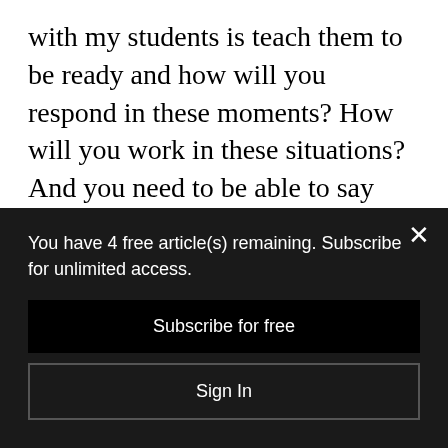with my students is teach them to be ready and how will you respond in these moments? How will you work in these situations? And you need to be able to say some of these words out loud, you need to be able to think these ideas out loud.

So I think that there's a value not just in not just suggesting that LGBTQ+ folks in...
You have 4 free article(s) remaining. Subscribe for unlimited access.
Subscribe for free
Sign In